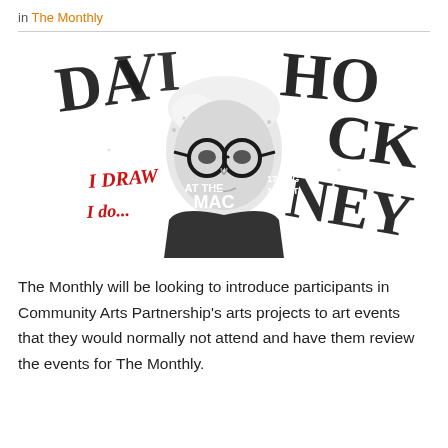in The Monthly
[Figure (illustration): Black and white illustrated portrait of David Hockney with typographic lettering spelling 'DAVID HOCKNEY' around him, with red handwritten text 'I DRAW I do...' and text 'AT THE MAC 17 AUG 16 OCT']
The Monthly will be looking to introduce participants in Community Arts Partnership's arts projects to art events that they would normally not attend and have them review the events for The Monthly.